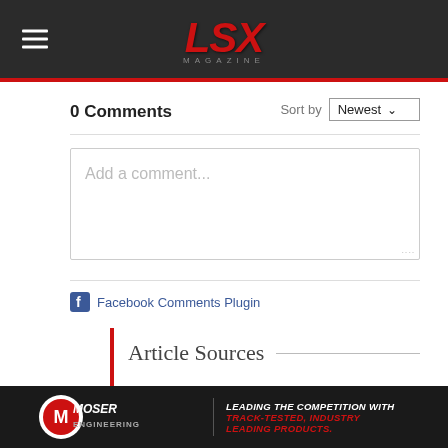LSX MAGAZINE
0 Comments
Sort by Newest
Add a comment...
Facebook Comments Plugin
Article Sources
DoorSlammers.com
[Figure (logo): Moser Engineering logo — white circular logo with stylized M and gear, text MOSER ENGINEERING below]
LEADING THE COMPETITION WITH TRACK-TESTED, INDUSTRY LEADING PRODUCTS.